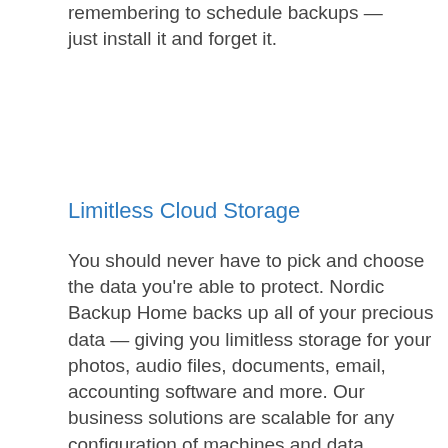remembering to schedule backups — just install it and forget it.
Limitless Cloud Storage
You should never have to pick and choose the data you're able to protect. Nordic Backup Home backs up all of your precious data — giving you limitless storage for your photos, audio files, documents, email, accounting software and more. Our business solutions are scalable for any configuration of machines and data.